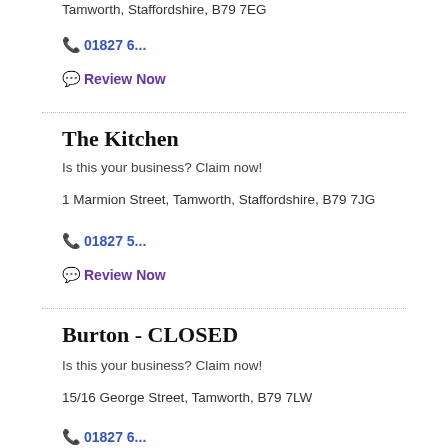Tamworth, Staffordshire, B79 7EG
📞 01827 6...
💬 Review Now
The Kitchen
Is this your business? Claim now!
1 Marmion Street, Tamworth, Staffordshire, B79 7JG
📞 01827 5...
💬 Review Now
Burton - CLOSED
Is this your business? Claim now!
15/16 George Street, Tamworth, B79 7LW
📞 01827 6...